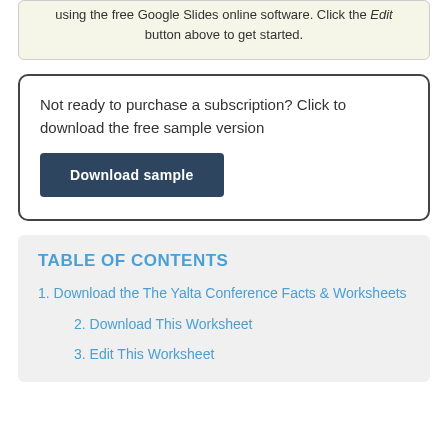using the free Google Slides online software. Click the Edit button above to get started.
Not ready to purchase a subscription? Click to download the free sample version
Download sample
TABLE OF CONTENTS
1. Download the The Yalta Conference Facts & Worksheets
2. Download This Worksheet
3. Edit This Worksheet